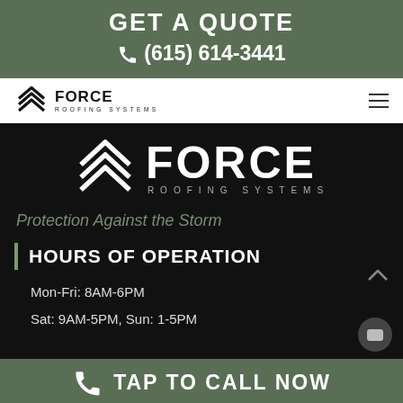GET A QUOTE
☎ (615) 614-3441
[Figure (logo): Force Roofing Systems logo with chevron arrows and hamburger menu in white nav bar]
[Figure (logo): Force Roofing Systems large white logo on black background with chevron arrows]
Protection Against the Storm
HOURS OF OPERATION
Mon-Fri: 8AM-6PM
Sat: 9AM-5PM, Sun: 1-5PM
TAP TO CALL NOW